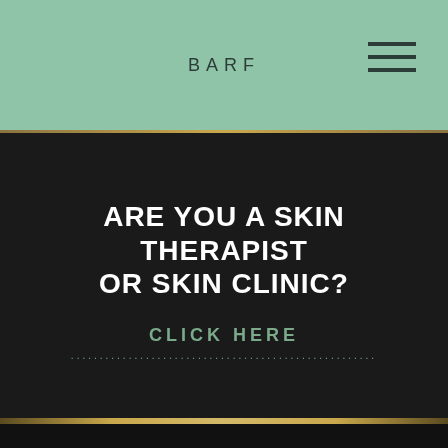BARF
ARE YOU A SKIN THERAPIST OR SKIN CLINIC?
CLICK HERE
FOLLOW US ON
© 2022 Bare Generation Pty Ltd. All Rights Reserved.